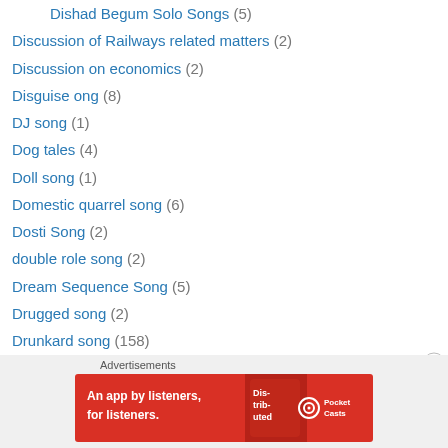Dishad Begum Solo Songs (5)
Discussion of Railways related matters (2)
Discussion on economics (2)
Disguise ong (8)
DJ song (1)
Dog tales (4)
Doll song (1)
Domestic quarrel song (6)
Dosti Song (2)
double role song (2)
Dream Sequence Song (5)
Drugged song (2)
Drunkard song (158)
Female drunkard song (38)
Duet (3,850)
Aarti Mukherjee – Subir Sen Duet (1)
[Figure (screenshot): Pocket Casts advertisement banner: 'An app by listeners, for listeners.']